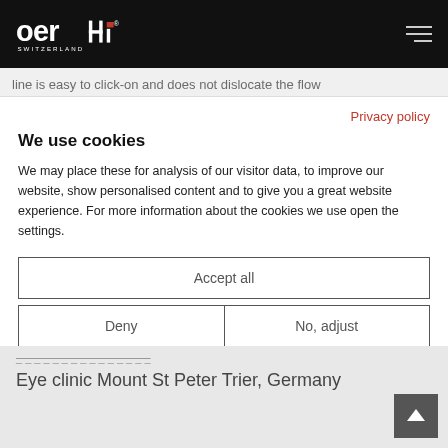[Figure (logo): Oerli Switzerland logo in white on black background, with hamburger menu icon on the right]
line is easy to click-on and does not dislocate the flow
Privacy policy
We use cookies
We may place these for analysis of our visitor data, to improve our website, show personalised content and to give you a great website experience. For more information about the cookies we use open the settings.
Accept all
Deny
No, adjust
Eye clinic Mount St Peter Trier, Germany